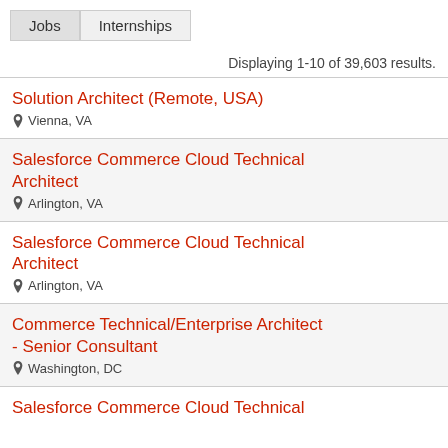Jobs | Internships
Displaying 1-10 of 39,603 results.
Solution Architect (Remote, USA) — Vienna, VA
Salesforce Commerce Cloud Technical Architect — Arlington, VA
Salesforce Commerce Cloud Technical Architect — Arlington, VA
Commerce Technical/Enterprise Architect - Senior Consultant — Washington, DC
Salesforce Commerce Cloud Technical